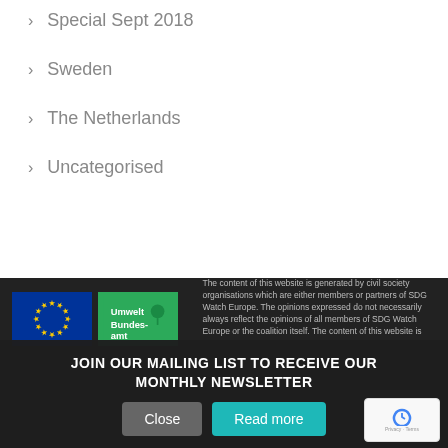> Special Sept 2018
> Sweden
> The Netherlands
> Uncategorised
[Figure (logo): EU flag logo and Umwelt Bundesamt logo in dark footer]
The content of this website is generated by civil society organisations which are either members or partners of SDG Watch Europe. The opinions expressed do not necessarily always reflect the opinions of all members of SDG Watch Europe or the coalition itself. The content of this website is...
JOIN OUR MAILING LIST TO RECEIVE OUR MONTHLY NEWSLETTER